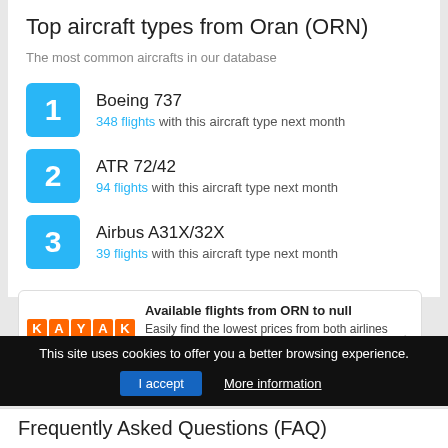Top aircraft types from Oran (ORN)
The most common aircrafts in our database
1 Boeing 737 — 348 flights with this aircraft type next month
2 ATR 72/42 — 94 flights with this aircraft type next month
3 Airbus A31X/32X — 39 flights with this aircraft type next month
Available flights from ORN to null
Easily find the lowest prices from both airlines and booking agents.
Kayak Sponsored
This site uses cookies to offer you a better browsing experience.
Frequently Asked Questions (FAQ)